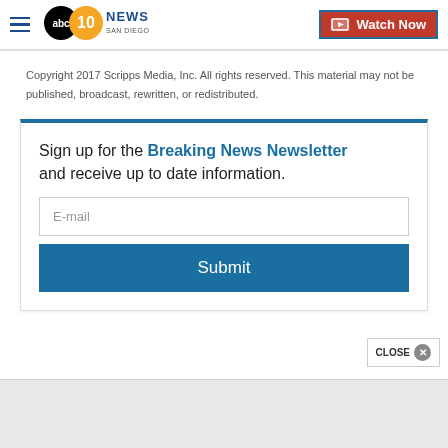[Figure (logo): ABC 10News San Diego logo with hamburger menu icon]
[Figure (other): Watch Now button with TV icon, red background with blue border]
Copyright 2017 Scripps Media, Inc. All rights reserved. This material may not be published, broadcast, rewritten, or redistributed.
Sign up for the Breaking News Newsletter and receive up to date information.
E-mail
Submit
CLOSE